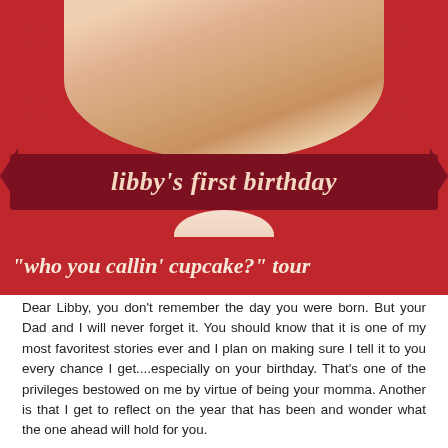[Figure (photo): Birthday party invitation or blog post header image. Red polka-dot background with a baby photo at top, a dark red ribbon banner reading "libby's first birthday" in italic cream text, a cupcake decoration below, and at the bottom a red banner reading "\u201cwho you callin\u2019 cupcake?\u201d tour".]
Dear Libby, you don't remember the day you were born.  But your Dad and I will never forget it.  You should know that it is one of my most favoritest stories ever and I plan on making sure I tell it to you every chance I get....especially on your birthday.  That’s one of the privileges bestowed on me by virtue of being your momma.  Another is that I get to reflect on the year that has been and wonder what the one ahead will hold for you.
I am in complete denial that your birthday is only a few day...